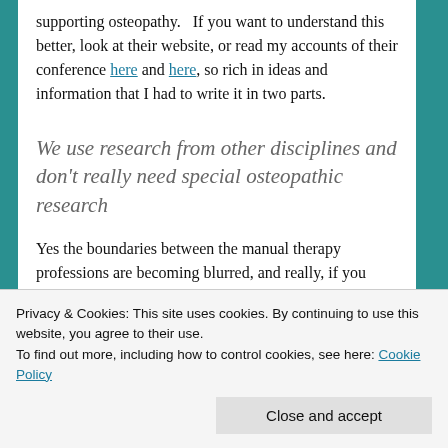supporting osteopathy.  If you want to understand this better, look at their website, or read my accounts of their conference here and here, so rich in ideas and information that I had to write it in two parts.
We use research from other disciplines and don't really need special osteopathic research
Yes the boundaries between the manual therapy professions are becoming blurred, and really, if you have a problem with lots of what osteopaths do, you might as well look at physios as well because they're doing the same kinds of
Privacy & Cookies: This site uses cookies. By continuing to use this website, you agree to their use.
To find out more, including how to control cookies, see here: Cookie Policy